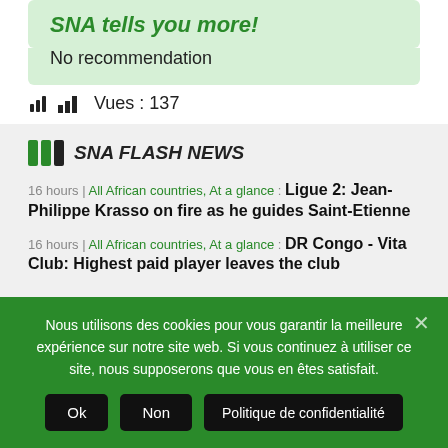SNA tells you more!
No recommendation
Vues : 137
SNA FLASH NEWS
16 hours | All African countries, At a glance : Ligue 2: Jean-Philippe Krasso on fire as he guides Saint-Etienne
16 hours | All African countries, At a glance : DR Congo - Vita Club: Highest paid player leaves the club
Nous utilisons des cookies pour vous garantir la meilleure expérience sur notre site web. Si vous continuez à utiliser ce site, nous supposerons que vous en êtes satisfait.
Ok | Non | Politique de confidentialité